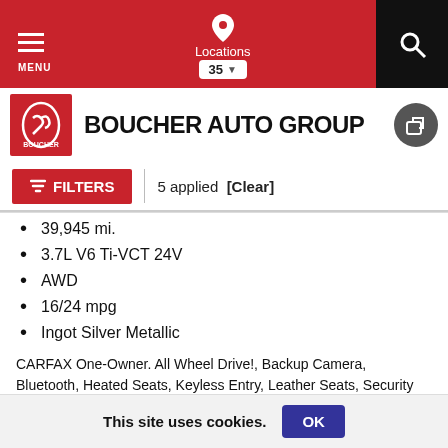MENU | Locations 35 | Search
BOUCHER AUTO GROUP
FILTERS | 5 applied [Clear]
39,945 mi.
3.7L V6 Ti-VCT 24V
AWD
16/24 mpg
Ingot Silver Metallic
CARFAX One-Owner. All Wheel Drive!, Backup Camera, Bluetooth, Heated Seats, Keyless Entry, Leather Seats, Security System, SYNC 3 Communications & Entertainment System.
More
This site uses cookies. OK